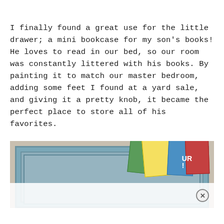I finally found a great use for the little drawer; a mini bookcase for my son's books! He loves to read in our bed, so our room was constantly littered with his books. By painting it to match our master bedroom, adding some feet I found at a yard sale, and giving it a pretty knob, it became the perfect place to store all of his favorites.
[Figure (photo): A light blue painted drawer being used as a mini bookcase, filled with children's books. The drawer has decorative molding detail. Books in yellow, blue, red and green are visible inside. The drawer appears to be resting on a surface against a wall. A white advertisement strip with a close (X) button overlays the bottom portion of the image.]